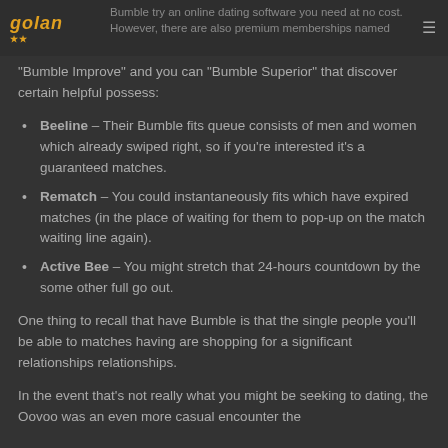Bumble try an online dating software you need at no cost. However, there are also premium memberships named
"Bumble Improve" and you can "Bumble Superior" that discover certain helpful possess:
Beeline – Their Bumble fits queue consists of men and women which already swiped right, so if you're interested it's a guaranteed matches.
Rematch – You could instantaneously fits which have expired matches (in the place of waiting for them to pop-up on the match waiting line again).
Active Bee – You might stretch that 24-hours countdown by the some other full go out.
One thing to recall that have Bumble is that the single people you'll be able to matches having are shopping for a significant relationships relationships.
In the event that's not really what you might be seeking to dating, the Oovoo was an even more casual encounter the